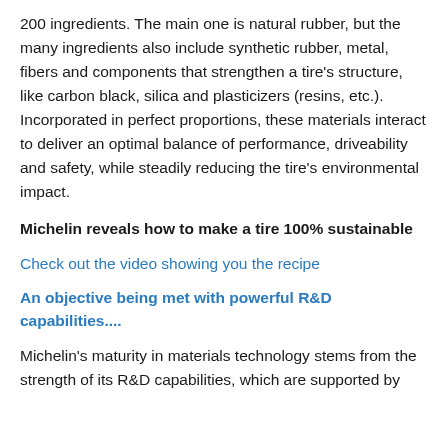200 ingredients. The main one is natural rubber, but the many ingredients also include synthetic rubber, metal, fibers and components that strengthen a tire’s structure, like carbon black, silica and plasticizers (resins, etc.). Incorporated in perfect proportions, these materials interact to deliver an optimal balance of performance, driveability and safety, while steadily reducing the tire’s environmental impact.
Michelin reveals how to make a tire 100% sustainable
Check out the video showing you the recipe
An objective being met with powerful R&D capabilities....
Michelin’s maturity in materials technology stems from the strength of its R&D capabilities, which are supported by